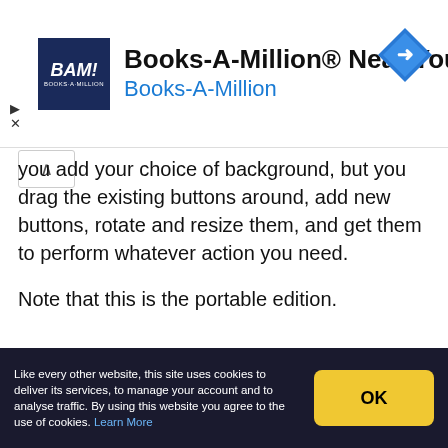[Figure (other): Books-A-Million advertisement banner with BAM! logo, text 'Books-A-Million® Near You' and 'Books-A-Million', and a blue diamond navigation arrow icon]
you add your choice of background, but you drag the existing buttons around, add new buttons, rotate and resize them, and get them to perform whatever action you need.
Note that this is the portable edition.
Verdict:
DVDStyler has some limitations - you're only given two audio format options, for instance - but it's still an entertaining, effective and speedy way
Like every other website, this site uses cookies to deliver its services, to manage your account and to analyse traffic. By using this website you agree to the use of cookies. Learn More